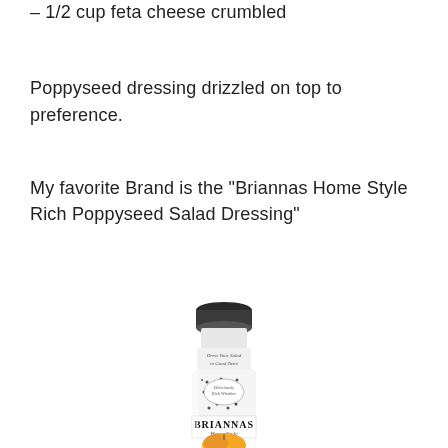- 1/2 cup feta cheese crumbled
Poppyseed dressing drizzled on top to preference.
My favorite Brand is the "Briannas Home Style Rich Poppyseed Salad Dressing"
[Figure (photo): A bottle of Briannas Home Style Rich Poppyseed Salad Dressing, showing a glass bottle with black lid, white creamy dressing with poppy seeds visible, label showing BRIANNAS Home Style branding with a peach/fruit image at the bottom.]